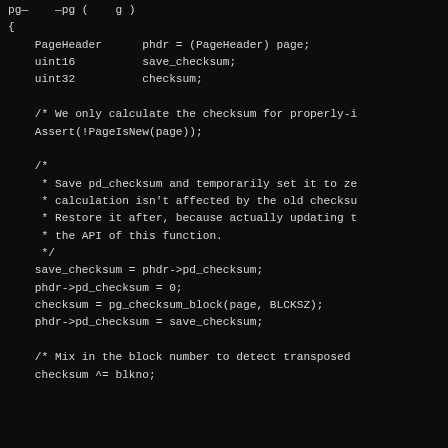pg— —pg ( g )
{
    PageHeader      phdr = (PageHeader) page;
    uint16          save_checksum;
    uint32          checksum;

    /* We only calculate the checksum for properly-i
    Assert(!PageIsNew(page));

    /*
     * Save pd_checksum and temporarily set it to ze
     * calculation isn't affected by the old checksu
     * Restore it after, because actually updating t
     * the API of this function.
     */
    save_checksum = phdr->pd_checksum;
    phdr->pd_checksum = 0;
    checksum = pg_checksum_block(page, BLCKSZ);
    phdr->pd_checksum = save_checksum;

    /* Mix in the block number to detect transposed
    checksum ^= blkno;